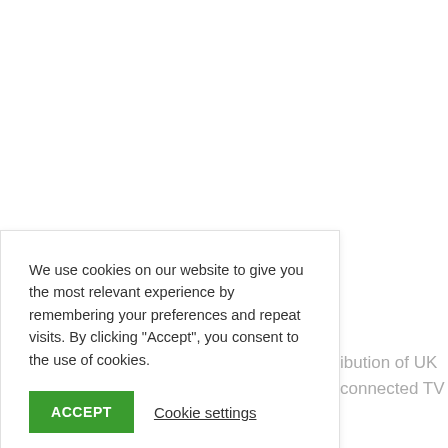We use cookies on our website to give you the most relevant experience by remembering your preferences and repeat visits. By clicking “Accept”, you consent to the use of cookies.
ACCEPT
Cookie settings
Read More
ibution of UK connected TV